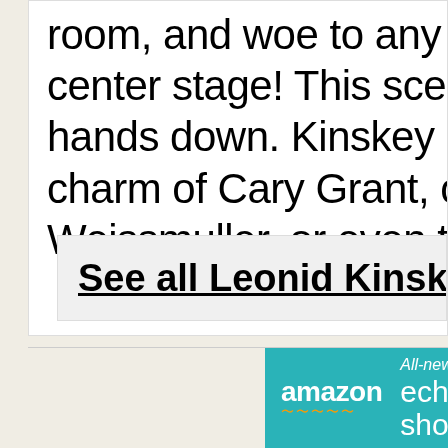room, and woe to any ma center stage! This scene-s hands down. Kinskey did charm of Cary Grant, or th Weissmuller, or even the e
See all Leonid Kinskey—
[Figure (infographic): Amazon advertisement banner showing 'All-new echo show $2299' on a teal/cyan background with Amazon logo]